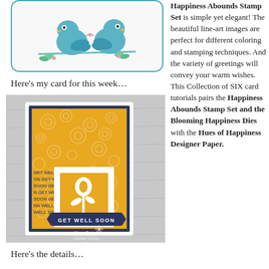[Figure (illustration): Two teal/blue cartoon birds sitting on a branch with small pink flowers and green leaves, inside a rounded teal border box]
Here’s my card for this week…
[Figure (photo): A handmade greeting card with a yellow/mustard background featuring a white floral pattern, navy blue border, GET WELL SOON text stamped repeatedly, a white die-cut flower/tulip, and a navy banner reading GET WELL SOON in white. Watermark: Mary Brown, Stampin’ Corner, Independent Demonstrator]
Here’s the details…
Happiness Abounds Stamp Set is simple yet elegant! The beautiful line-art images are perfect for different coloring and stamping techniques. And the variety of greetings will convey your warm wishes. This Collection of SIX card tutorials pairs the Happiness Abounds Stamp Set and the Blooming Happiness Dies with the Hues of Happiness Designer Paper.